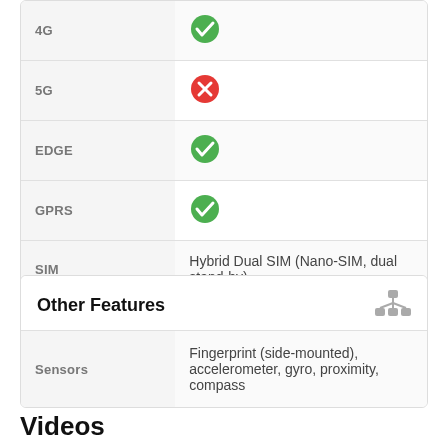| Feature | Value |
| --- | --- |
| 4G | ✓ |
| 5G | ✗ |
| EDGE | ✓ |
| GPRS | ✓ |
| SIM | Hybrid Dual SIM (Nano-SIM, dual stand-by) |
Other Features
| Feature | Value |
| --- | --- |
| Sensors | Fingerprint (side-mounted), accelerometer, gyro, proximity, compass |
Videos